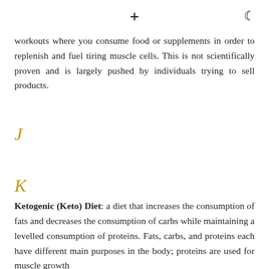+ (moon icon)
workouts where you consume food or supplements in order to replenish and fuel tiring muscle cells. This is not scientifically proven and is largely pushed by individuals trying to sell products.
J
K
Ketogenic (Keto) Diet: a diet that increases the consumption of fats and decreases the consumption of carbs while maintaining a levelled consumption of proteins. Fats, carbs, and proteins each have different main purposes in the body; proteins are used for muscle growth